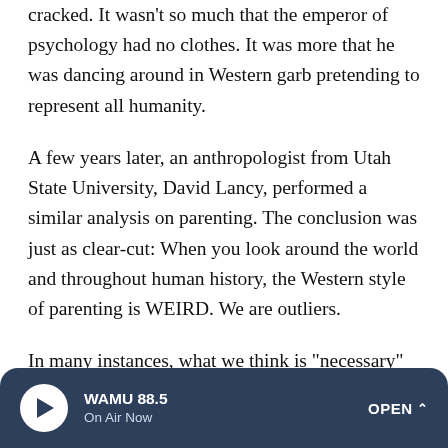cracked. It wasn't so much that the emperor of psychology had no clothes. It was more that he was dancing around in Western garb pretending to represent all humanity.
A few years later, an anthropologist from Utah State University, David Lancy, performed a similar analysis on parenting. The conclusion was just as clear-cut: When you look around the world and throughout human history, the Western style of parenting is WEIRD. We are outliers.
In many instances, what we think is "necessary" or "critical" for childhood is actually not present in any other cultures around the world or throughout time.
"The list of differences is really, really long," says Lancy,
WAMU 88.5 On Air Now OPEN